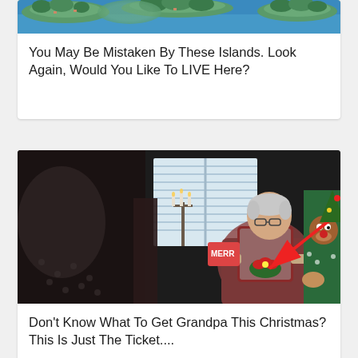[Figure (photo): Aerial view of islands surrounded by blue water with green trees]
You May Be Mistaken By These Islands. Look Again, Would You Like To LIVE Here?
[Figure (photo): Indoor Christmas scene with elderly man sitting in chair, person in reindeer sweater standing nearby, red arrow pointing at something]
Don't Know What To Get Grandpa This Christmas? This Is Just The Ticket....